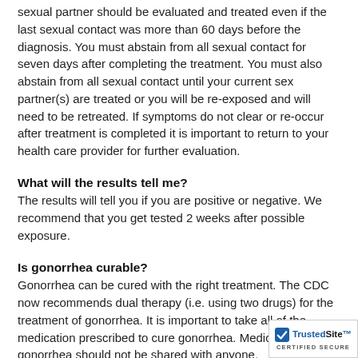sexual partner should be evaluated and treated even if the last sexual contact was more than 60 days before the diagnosis. You must abstain from all sexual contact for seven days after completing the treatment. You must also abstain from all sexual contact until your current sex partner(s) are treated or you will be re-exposed and will need to be retreated. If symptoms do not clear or re-occur after treatment is completed it is important to return to your health care provider for further evaluation.
What will the results tell me?
The results will tell you if you are positive or negative. We recommend that you get tested 2 weeks after possible exposure.
Is gonorrhea curable?
Gonorrhea can be cured with the right treatment. The CDC now recommends dual therapy (i.e. using two drugs) for the treatment of gonorrhea. It is important to take all of the medication prescribed to cure gonorrhea. Medication for gonorrhea should not be shared with anyone.
Who should be tested for gonorrhea?